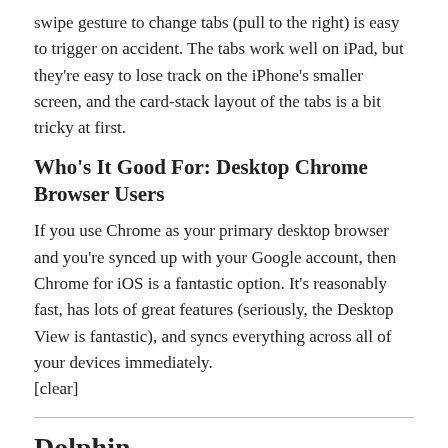swipe gesture to change tabs (pull to the right) is easy to trigger on accident. The tabs work well on iPad, but they're easy to lose track on the iPhone's smaller screen, and the card-stack layout of the tabs is a bit tricky at first.
Who's It Good For: Desktop Chrome Browser Users
If you use Chrome as your primary desktop browser and you're synced up with your Google account, then Chrome for iOS is a fantastic option. It's reasonably fast, has lots of great features (seriously, the Desktop View is fantastic), and syncs everything across all of your devices immediately. [clear]
Dolphin
[Figure (illustration): Small image placeholder icon with label 'Image']
As the name suggests, Dolphin is the most playful of the bunch. Its core principle is gesture-based control and it